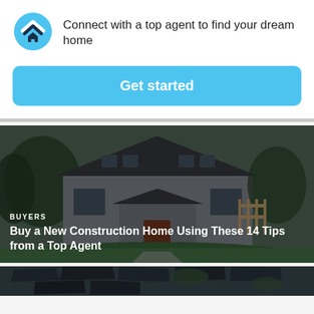[Figure (logo): HomeLight logo: circular blue icon with chevron and house symbol]
Connect with a top agent to find your dream home
Get started
[Figure (photo): Exterior photo of a craftsman-style house with covered porch, dark roof, stone accents, and manicured lawn — darkened overlay]
BUYERS
Buy a New Construction Home Using These 14 Tips from a Top Agent
[Figure (photo): Aerial view of a residential neighborhood with dark-roofed houses — partially visible, darkened overlay]